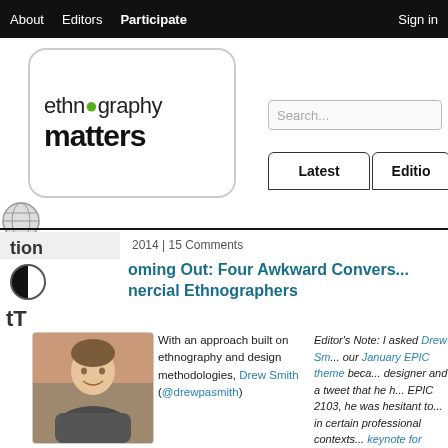About  Editors  Participate  Sign in
[Figure (logo): Ethnography Matters logo in rounded rectangle box]
[Figure (screenshot): Search input box with placeholder text Search...]
Latest
Editio
tion
2014 | 15 Comments
oming Out: Four Awkward Convers... nercial Ethnographers
[Figure (photo): Portrait photo of Drew Smith, a young man smiling]
With an approach built on ethnography and design methodologies, Drew Smith (@drewpasmith)
Editor's Note: I asked Drew Sm... our January EPIC theme beca... designer and a tweet that he h... EPIC 2103, he was hesitant to... in certain professional contexts... keynote for EPIC 2013, he twe... an @ethnographer!" We had a... where Drew explained to me...